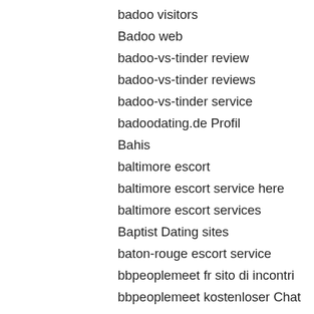badoo visitors
Badoo web
badoo-vs-tinder review
badoo-vs-tinder reviews
badoo-vs-tinder service
badoodating.de Profil
Bahis
baltimore escort
baltimore escort service here
baltimore escort services
Baptist Dating sites
baton-rouge escort service
bbpeoplemeet fr sito di incontri
bbpeoplemeet kostenloser Chat
bbpeoplemeet review
bbpeoplemeet reviews
bbpeoplemeet seiten
bbpeoplemeet sito di incontri